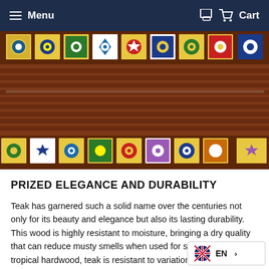Menu  Cart
[Figure (photo): Close-up photograph of a teak wood furniture piece (bench/headboard) with horizontal slatted panels and decorative colorful ceramic tiles inset along the top and bottom rails, featuring floral patterns in blue, yellow, green, red and white.]
PRIZED ELEGANCE AND DURABILITY
Teak has garnered such a solid name over the centuries not only for its beauty and elegance but also its lasting durability. This wood is highly resistant to moisture, bringing a dry quality that can reduce musty smells when used for storage. As a tropical hardwood, teak is resistant to variations in temperature and requires very little maintenance.